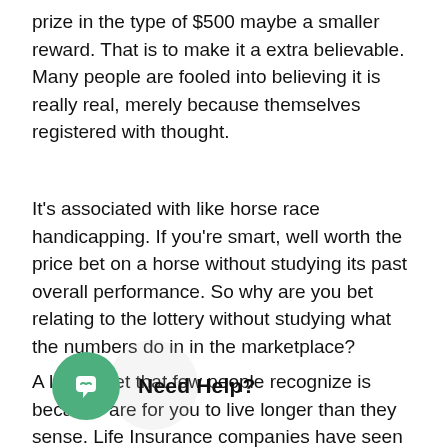prize in the type of $500 maybe a smaller reward. That is to make it a extra believable. Many people are fooled into believing it is really real, merely because themselves registered with thought.
It's associated with like horse race handicapping. If you're smart, well worth the price bet on a horse without studying its past overall performance. So why are you bet relating to the lottery without studying what the numbers do in in the marketplace?
A life secret that few people recognize is because are for you to live longer than they sense. Life Insurance companies have seen this. They used to imagine that no-one lived past age one. Now the assumption has been raised to 125. Very few people will be equipped to sustain a cozy life for 25 or more years beyond their mums and dads. A online lottery website winner would are rei... b... ain a comfortable life a good age unti... ble a couple of years ago.